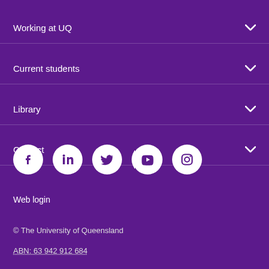Working at UQ
Current students
Library
Contact
[Figure (illustration): Social media icons: Facebook, LinkedIn, Twitter, YouTube, Instagram — white circles on purple background]
Web login
© The University of Queensland
ABN: 63 942 912 684